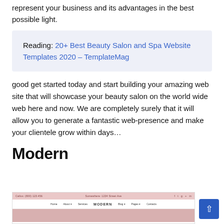represent your business and its advantages in the best possible light.
Reading: 20+ Best Beauty Salon and Spa Website Templates 2020 – TemplateMag
good get started today and start building your amazing web site that will showcase your beauty salon on the world wide web here and now. We are completely surely that it will allow you to generate a fantastic web-presence and make your clientele grow within days…
Modern
[Figure (screenshot): Screenshot of the Modern website template showing navigation bar with Home, About, Services, MODERN logo, Blog, Pages, Contacts links]